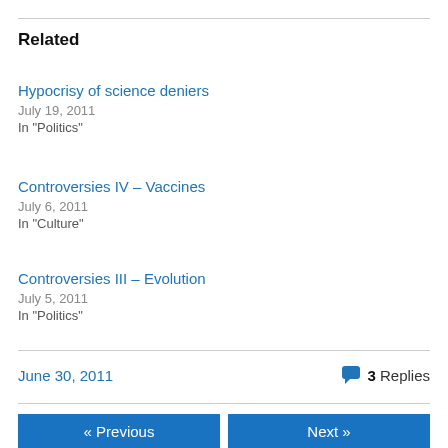Related
Hypocrisy of science deniers
July 19, 2011
In "Politics"
Controversies IV – Vaccines
July 6, 2011
In "Culture"
Controversies III – Evolution
July 5, 2011
In "Politics"
June 30, 2011   💬 3 Replies
« Previous   Next »